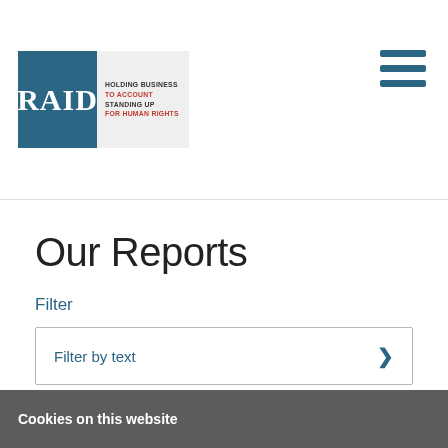[Figure (logo): RAID logo — dark teal square with white bold serif RAID text, adjacent light grey box with text: HOLDING BUSINESS TO ACCOUNT STANDING UP FOR HUMAN RIGHTS]
[Figure (other): Hamburger menu icon — three horizontal dark teal bars stacked]
Our Reports
Filter
Filter by text
Cookies on this website